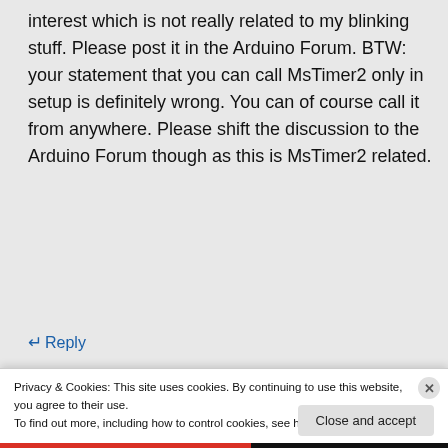interest which is not really related to my blinking stuff. Please post it in the Arduino Forum. BTW: your statement that you can call MsTimer2 only in setup is definitely wrong. You can of course call it from anywhere. Please shift the discussion to the Arduino Forum though as this is MsTimer2 related.
↵ Reply
Privacy & Cookies: This site uses cookies. By continuing to use this website, you agree to their use.
To find out more, including how to control cookies, see here: Cookie Policy